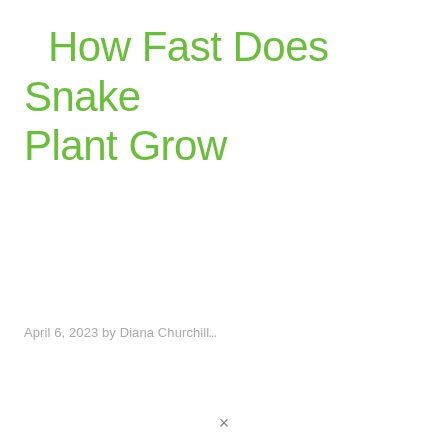How Fast Does Snake Plant Grow
April 6, 2023 by Diana Churchil...
×